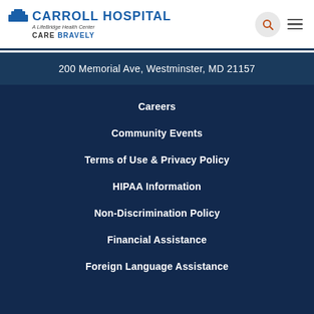[Figure (logo): Carroll Hospital - A LifeBridge Health Center logo with CARE BRAVELY tagline]
200 Memorial Ave, Westminster, MD 21157
Careers
Community Events
Terms of Use & Privacy Policy
HIPAA Information
Non-Discrimination Policy
Financial Assistance
Foreign Language Assistance